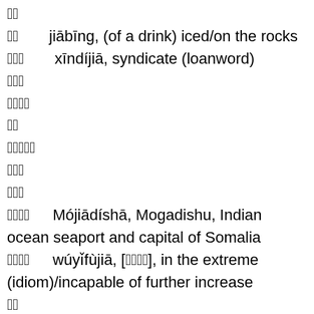㊑㊑
㊑㊑    jiābīng, (of a drink) iced/on the rocks
㊑㊑㊑    xīndíjiā, syndicate (loanword)
㊑㊑㊑
㊑㊑㊑㊑
㊑㊑
㊑㊑㊑㊑㊑
㊑㊑㊑
㊑㊑㊑
㊑㊑㊑㊑    Mójiādíshā, Mogadishu, Indian ocean seaport and capital of Somalia
㊑㊑㊑㊑    wúyǐfùjiā, [㊑㊑㊑㊑], in the extreme (idiom)/incapable of further increase
㊑㊑
㊑㊑㊑
㊑㊑㊑    cānjiāzhě, [㊑㊑㊑], participant
㊑㊑㊑㊑㊑